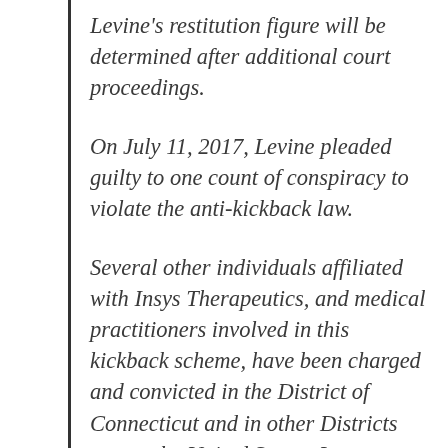Levine's restitution figure will be determined after additional court proceedings.
On July 11, 2017, Levine pleaded guilty to one count of conspiracy to violate the anti-kickback law.
Several other individuals affiliated with Insys Therapeutics, and medical practitioners involved in this kickback scheme, have been charged and convicted in the District of Connecticut and in other Districts across the United States. In sentencing Levine, Judge Arterton credited Levine's significant